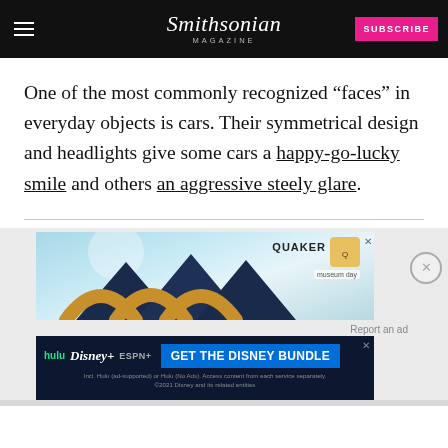Smithsonian MAGAZINE | SUBSCRIBE
One of the most commonly recognized “faces” in everyday objects is cars. Their symmetrical design and headlights give some cars a happy-go-lucky smile and others an aggressive steely glare.
[Figure (other): Quaker Museum Day advertisement banner with decorative arch shapes on a light blue background]
[Figure (other): Disney Bundle advertisement: hulu + Disney+ + ESPN+ GET THE DISNEY BUNDLE. Incl. Hulu (ad-supported) or Hulu (No Ads). Access content from each service separately. ©2021 Disney and its related entities]